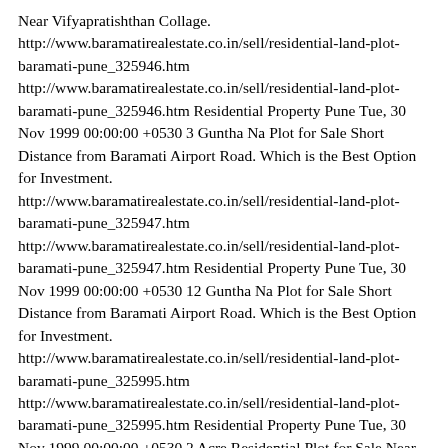Near Vifyapratishthan Collage. http://www.baramatirealestate.co.in/sell/residential-land-plot-baramati-pune_325946.htm http://www.baramatirealestate.co.in/sell/residential-land-plot-baramati-pune_325946.htm Residential Property Pune Tue, 30 Nov 1999 00:00:00 +0530 3 Guntha Na Plot for Sale Short Distance from Baramati Airport Road. Which is the Best Option for Investment. http://www.baramatirealestate.co.in/sell/residential-land-plot-baramati-pune_325947.htm http://www.baramatirealestate.co.in/sell/residential-land-plot-baramati-pune_325947.htm Residential Property Pune Tue, 30 Nov 1999 00:00:00 +0530 12 Guntha Na Plot for Sale Short Distance from Baramati Airport Road. Which is the Best Option for Investment. http://www.baramatirealestate.co.in/sell/residential-land-plot-baramati-pune_325995.htm http://www.baramatirealestate.co.in/sell/residential-land-plot-baramati-pune_325995.htm Residential Property Pune Tue, 30 Nov 1999 00:00:00 +0530 2 Acre Residential Plot for Sale Near Malegaon Tolnake At Baramati Muncipal Area. for Further Details Plz Call On Existing Number. http://www.baramatirealestate.co.in/sell/residential-land-plot-baramati-pune_325996.htm http://www.baramatirealestate.co.in/sell/residential-land-plot-baramati-pune_325996.htm Residential Property Pune Tue, 30 Nov 1999 00:00:00 +0530 2 Acre Residential Plot for Sale Near